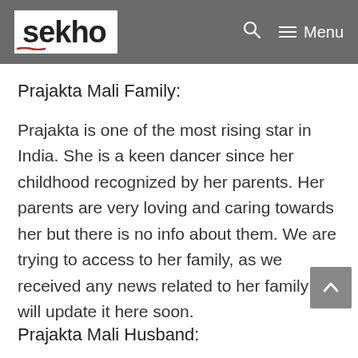sekho — Menu
Prajakta Mali Family:
Prajakta is one of the most rising star in India. She is a keen dancer since her childhood recognized by her parents. Her parents are very loving and caring towards her but there is no info about them. We are trying to access to her family, as we received any news related to her family we will update it here soon.
Prajakta Mali Husband: